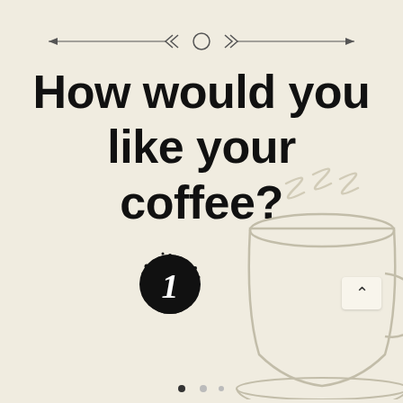[Figure (illustration): Decorative horizontal divider with arrows pointing left and right, with chevron arrows and a circle in the center]
How would you like your coffee?
[Figure (illustration): A large hand-drawn sketch of a coffee cup with steam, visible in the lower right corner]
[Figure (illustration): A black circular badge with the number 1 in white italic text, with paint splatter effect around it]